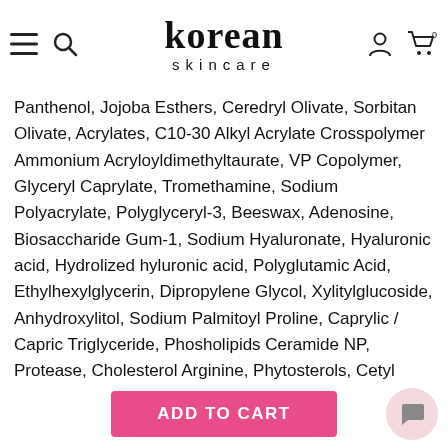korean skincare
Panthenol, Jojoba Esthers, Ceredryl Olivate, Sorbitan Olivate, Acrylates, C10-30 Alkyl Acrylate Crosspolymer Ammonium Acryloyldimethyltaurate, VP Copolymer, Glyceryl Caprylate, Tromethamine, Sodium Polyacrylate, Polyglyceryl-3, Beeswax, Adenosine, Biosaccharide Gum-1, Sodium Hyaluronate, Hyaluronic acid, Hydrolized hyluronic acid, Polyglutamic Acid, Ethylhexylglycerin, Dipropylene Glycol, Xylitylglucoside, Anhydroxylitol, Sodium Palmitoyl Proline, Caprylic / Capric Triglyceride, Phosholipids Ceramide NP, Protease, Cholesterol Arginine, Phytosterols, Cetyl Alcohol, Disodium EDTA, Phenoxyethanol.